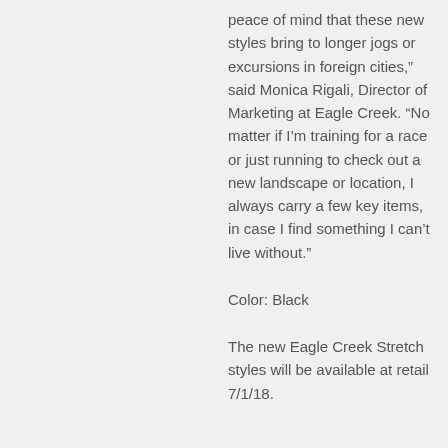peace of mind that these new styles bring to longer jogs or excursions in foreign cities,” said Monica Rigali, Director of Marketing at Eagle Creek. “No matter if I’m training for a race or just running to check out a new landscape or location, I always carry a few key items, in case I find something I can’t live without.”
Color: Black
The new Eagle Creek Stretch styles will be available at retail 7/1/18.